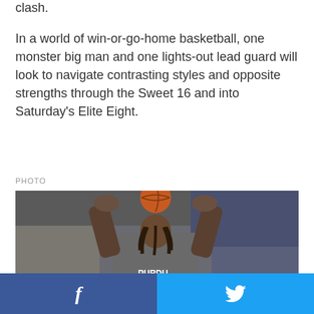clash.
In a world of win-or-go-home basketball, one monster big man and one lights-out lead guard will look to navigate contrasting styles and opposite strengths through the Sweet 16 and into Saturday's Elite Eight.
PHOTO
[Figure (photo): A Purdue Boilermakers basketball player wearing a gray Purdue sweatshirt, holding a basketball above his head in a shooting stance during warmups, with a blurred arena crowd in the background.]